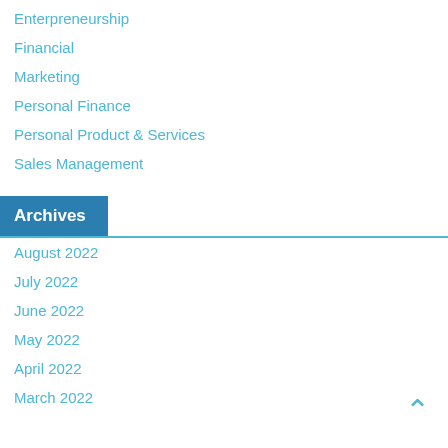Enterpreneurship
Financial
Marketing
Personal Finance
Personal Product & Services
Sales Management
Archives
August 2022
July 2022
June 2022
May 2022
April 2022
March 2022